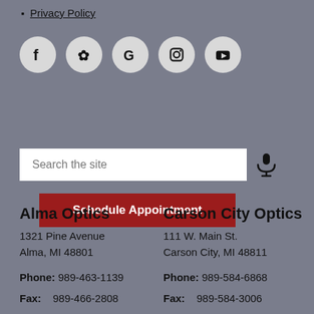Privacy Policy
[Figure (infographic): Social media icons row: Facebook, Yelp, Google, Instagram, YouTube — each in a light gray circle]
Schedule Appointment
Search the site
Alma Optics
1321 Pine Avenue
Alma, MI 48801
Phone: 989-463-1139
Fax: 989-466-2808
Carson City Optics
111 W. Main St.
Carson City, MI 48811
Phone: 989-584-6868
Fax: 989-584-3006